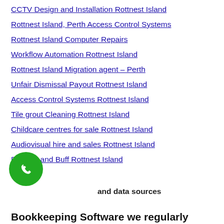CCTV Design and Installation Rottnest Island
Rottnest Island, Perth Access Control Systems
Rottnest Island Computer Repairs
Workflow Automation Rottnest Island
Rottnest Island Migration agent – Perth
Unfair Dismissal Payout Rottnest Island
Access Control Systems Rottnest Island
Tile grout Cleaning Rottnest Island
Childcare centres for sale Rottnest Island
Audiovisual hire and sales Rottnest Island
Bumper and Buff Rottnest Island
and data sources
Bookkeeping Software we regularly